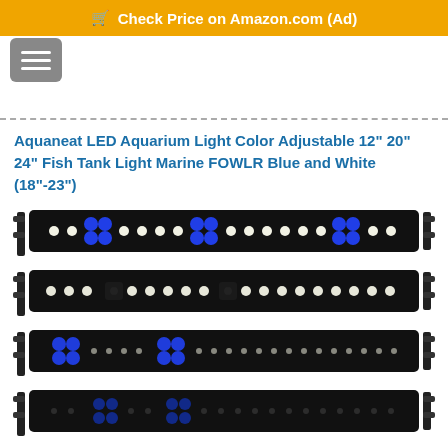Check Price on Amazon.com (Ad)
Aquaneat LED Aquarium Light Color Adjustable 12" 20" 24" Fish Tank Light Marine FOWLR Blue and White (18"-23")
[Figure (photo): Four Aquaneat LED aquarium light strips shown stacked vertically. Top two strips display white and blue LEDs lit brightly on black housing with metal mounting brackets. Bottom two strips show a mix of blue and white LEDs with varying illumination patterns. Each strip has extendable side brackets for mounting on fish tanks.]